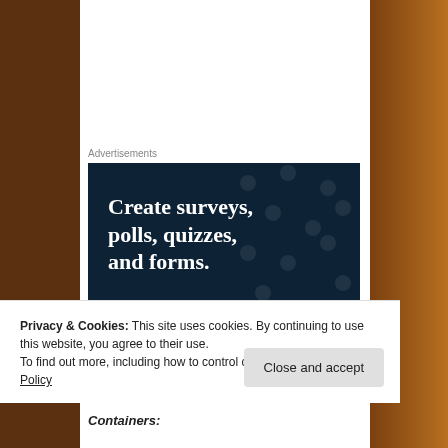Advertisements
[Figure (illustration): Advertisement banner with dark navy background and dot pattern. Bold white serif text reads: Create surveys, polls, quizzes, and forms. A pink/magenta 'Start now' button is shown below the text.]
Containers:
Privacy & Cookies: This site uses cookies. By continuing to use this website, you agree to their use.
To find out more, including how to control cookies, see here: Cookie Policy
Close and accept